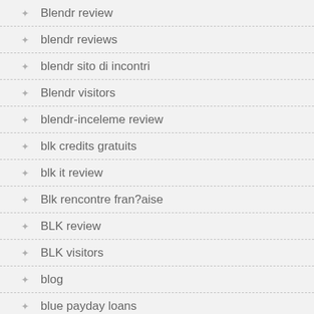Blendr review
blendr reviews
blendr sito di incontri
Blendr visitors
blendr-inceleme review
blk credits gratuits
blk it review
Blk rencontre fran?aise
BLK review
BLK visitors
blog
blue payday loans